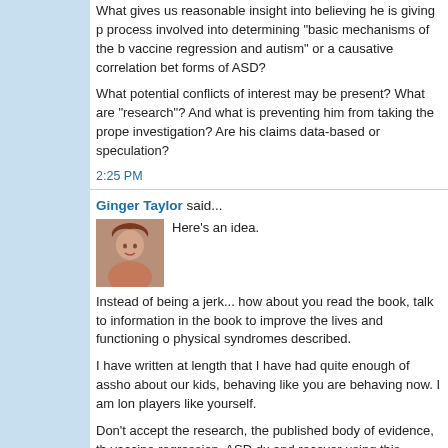What gives us reasonable insight into believing he is giving process involved into determining "basic mechanisms of the vaccine regression and autism" or a causative correlation between forms of ASD?
What potential conflicts of interest may be present? What are "research"? And what is preventing him from taking the proper investigation? Are his claims data-based or speculation?
2:25 PM
Ginger Taylor said...
Here's an idea.
Instead of being a jerk... how about you read the book, talk to information in the book to improve the lives and functioning of physical syndromes described.
I have written at length that I have had quite enough of assholes about our kids, behaving like you are behaving now. I am long players like yourself.
Don't accept the research, the published body of evidence, the vaccine regression, ASD dx and recover using this understanding
I DON'T CARE!